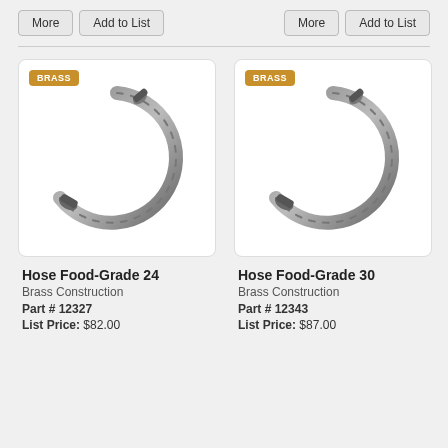More | Add to List (left product)
More | Add to List (right product)
[Figure (photo): Hose Food-Grade 24 - circular brass hose with ridged texture, open ring shape, dark metallic color, BRASS badge in top-left corner]
[Figure (photo): Hose Food-Grade 30 - circular brass hose with ridged texture, open ring shape, dark metallic color, BRASS badge in top-left corner]
Hose Food-Grade 24
Brass Construction
Part # 12327
List Price: $82.00
Hose Food-Grade 30
Brass Construction
Part # 12343
List Price: $87.00